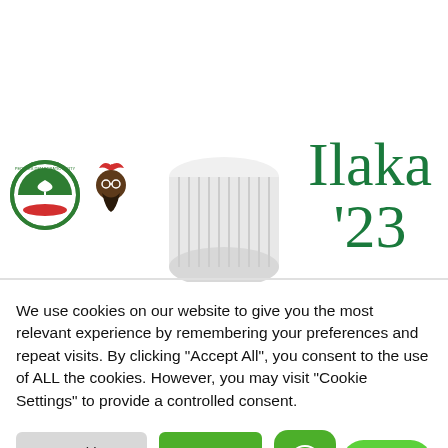[Figure (illustration): Website banner with PDP party logo, warrior/chief logo, bottle cap image, and green 'Ilaka '23' campaign text]
We use cookies on our website to give you the most relevant experience by remembering your preferences and repeat visits. By clicking "Accept All", you consent to the use of ALL the cookies. However, you may visit "Cookie Settings" to provide a controlled consent.
Cookie Settings
Accept All
Join Us